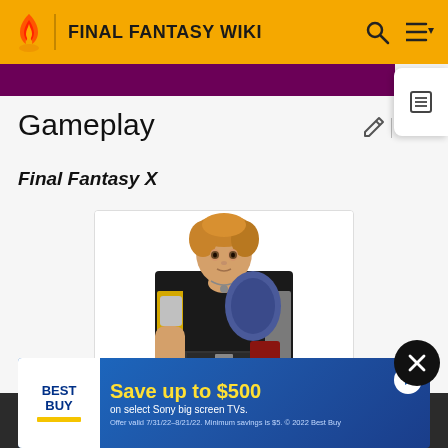FINAL FANTASY WIKI
Gameplay
Final Fantasy X
[Figure (photo): 3D rendered character from Final Fantasy X (Tidus) wearing a yellow and black outfit with a blue backpack, standing against a white background]
[Figure (infographic): Best Buy advertisement banner: Save up to $500 on select Sony big screen TVs. Offer valid 7/31/22-8/21/22. Minimum savings is $5. © 2022 Best Buy]